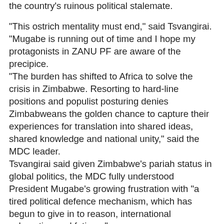the country's ruinous political stalemate.

"This ostrich mentality must end," said Tsvangirai. "Mugabe is running out of time and I hope my protagonists in ZANU PF are aware of the precipice.
"The burden has shifted to Africa to solve the crisis in Zimbabwe. Resorting to hard-line positions and populist posturing denies Zimbabweans the golden chance to capture their experiences for translation into shared ideas, shared knowledge and national unity," said the MDC leader.
Tsvangirai said given Zimbabwe’s pariah status in global politics, the MDC fully understood President Mugabe’s growing frustration with "a tired political defence mechanism, which has begun to give in to reason, international exhaustion and fatigue."
"Taking potshots at the United Nations, the AU, the European Union and other goodwill institutions for suggesting corrective action to